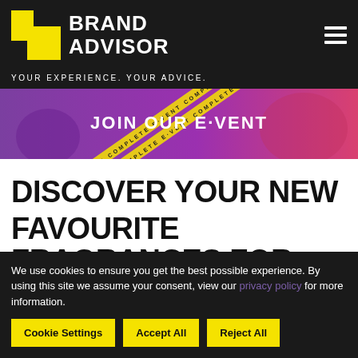[Figure (logo): Brand Advisor logo with yellow icon and white text on dark background, hamburger menu on right]
YOUR EXPERIENCE. YOUR ADVICE.
[Figure (photo): Banner image with purple to pink gradient showing people and text 'JOIN OUR E·VENT' with yellow diagonal stripe reading 'E·VENT COMPLETE']
DISCOVER YOUR NEW FAVOURITE FRAGRANCES FOR
We use cookies to ensure you get the best possible experience. By using this site we assume your consent, view our privacy policy for more information.
Cookie Settings  Accept All  Reject All